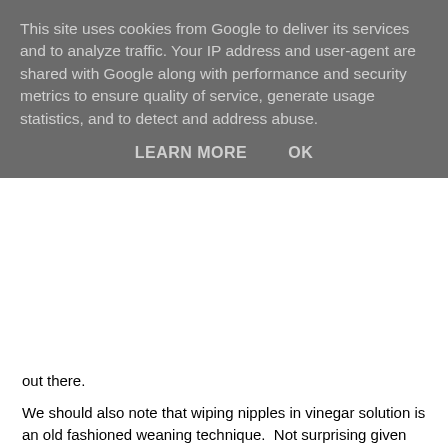This site uses cookies from Google to deliver its services and to analyze traffic. Your IP address and user-agent are shared with Google along with performance and security metrics to ensure quality of service, generate usage statistics, and to detect and address abuse.
LEARN MORE    OK
out there.
We should also note that wiping nipples in vinegar solution is an old fashioned weaning technique.  Not surprising given the taste - using Jo's techniques we potentially already have cold, vinegary damp nipples. Delish!
Third, air drying doesn't prevent cracking, a baby latching well to the breast prevents nipple damage (as Jo herself says only a few pages earlier). Air drying after applying a small amount of breastmilk can be soothing if nipples are sore, but the skin isn't broken - if it is moist wound healing becomes more appropriate to prevent a scab forming.